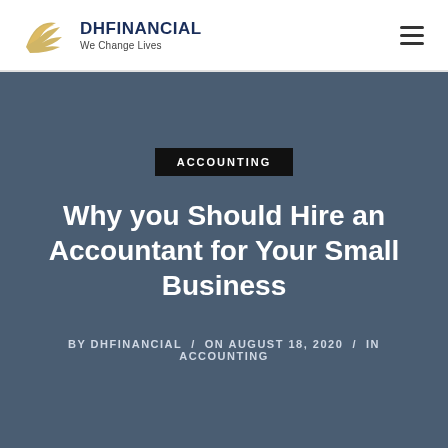DHFINANCIAL / We Change Lives
ACCOUNTING
Why you Should Hire an Accountant for Your Small Business
BY DHFINANCIAL / ON AUGUST 18, 2020 / IN ACCOUNTING